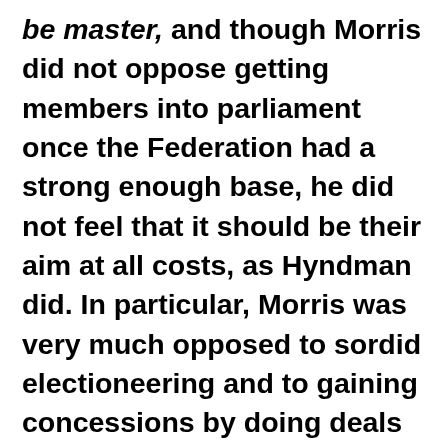be master, and though Morris did not oppose getting members into parliament once the Federation had a strong enough base, he did not feel that it should be their aim at all costs, as Hyndman did. In particular, Morris was very much opposed to sordid electioneering and to gaining concessions by doing deals with other parties. Along with others in the SDF, he felt that their principal aim should